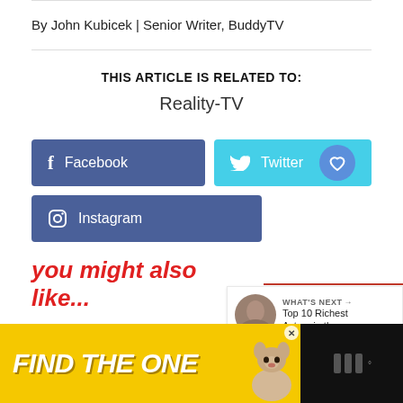By John Kubicek | Senior Writer, BuddyTV
THIS ARTICLE IS RELATED TO:
Reality-TV
[Figure (infographic): Social media share buttons: Facebook (dark blue), Twitter (cyan/light blue) with heart icon, Instagram (dark blue), and a share count widget showing 1 share]
you might also like...
[Figure (photo): What's Next promo box with a circular photo of a man and text: Top 10 Richest Actors in th...]
[Figure (infographic): Advertisement banner: FIND THE ONE with a dog image on yellow background]